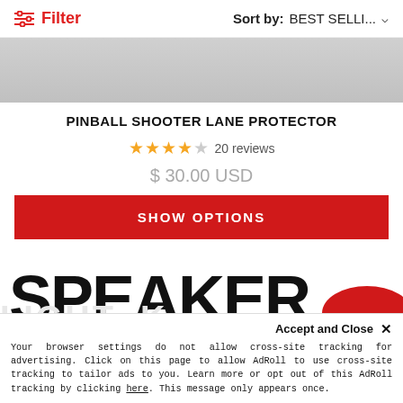Filter | Sort by: BEST SELLI... ▾
[Figure (photo): Gray gradient product image placeholder at top]
PINBALL SHOOTER LANE PROTECTOR
★★★★☆ 20 reviews
$ 30.00 USD
SHOW OPTIONS
[Figure (photo): Large bold text reading 'SPEAKER' in black with ghost text and red blob partially visible below]
Accept and Close ✕
Your browser settings do not allow cross-site tracking for advertising. Click on this page to allow AdRoll to use cross-site tracking to tailor ads to you. Learn more or opt out of this AdRoll tracking by clicking here. This message only appears once.